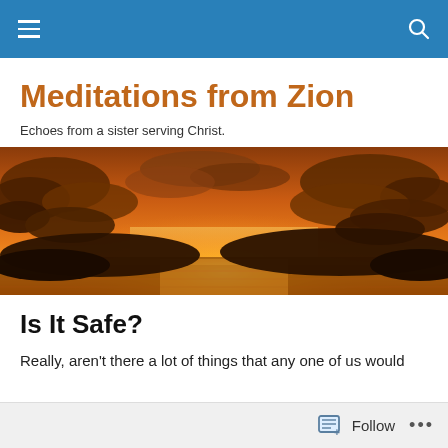Navigation bar with hamburger menu and search icon
Meditations from Zion
Echoes from a sister serving Christ.
[Figure (photo): A dramatic orange and red sunset sky with clouds and a glowing horizon over water.]
Is It Safe?
Really, aren't there a lot of things that any one of us would
Follow  •••